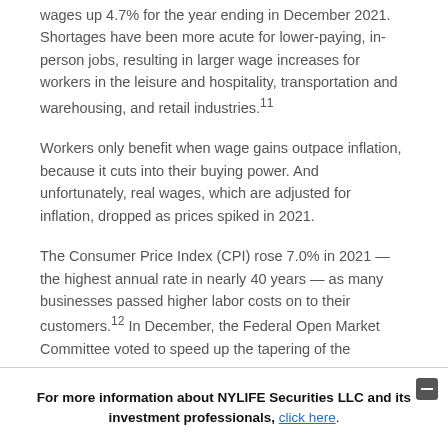wages up 4.7% for the year ending in December 2021. Shortages have been more acute for lower-paying, in-person jobs, resulting in larger wage increases for workers in the leisure and hospitality, transportation and warehousing, and retail industries.11
Workers only benefit when wage gains outpace inflation, because it cuts into their buying power. And unfortunately, real wages, which are adjusted for inflation, dropped as prices spiked in 2021.
The Consumer Price Index (CPI) rose 7.0% in 2021 — the highest annual rate in nearly 40 years — as many businesses passed higher labor costs on to their customers.12 In December, the Federal Open Market Committee voted to speed up the tapering of the
For more information about NYLIFE Securities LLC and its investment professionals, click here.